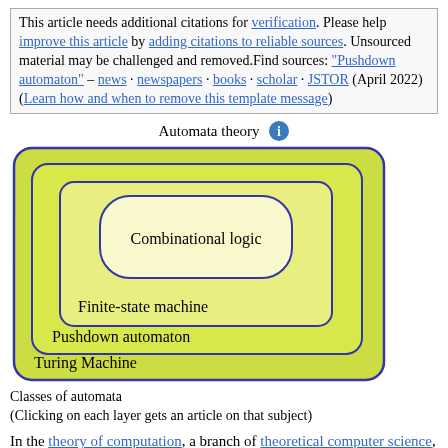This article needs additional citations for verification. Please help improve this article by adding citations to reliable sources. Unsourced material may be challenged and removed. Find sources: "Pushdown automaton" – news · newspapers · books · scholar · JSTOR (April 2022) (Learn how and when to remove this template message)
Automata theory
[Figure (illustration): Nested rectangles showing classes of automata: outermost is Turing Machine (yellow-green), then Pushdown automaton, then Finite-state machine, then innermost Combinational logic (light yellow). All with rounded corners and dark blue borders.]
Classes of automata
(Clicking on each layer gets an article on that subject)
In the theory of computation, a branch of theoretical computer science, a pushdown automaton (PDA) is a type of automaton that employs a stack.